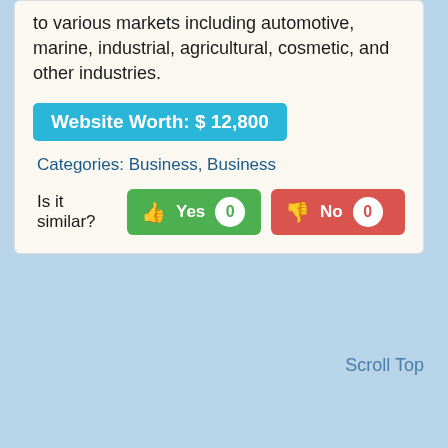to various markets including automotive, marine, industrial, agricultural, cosmetic, and other industries.
Website Worth: $ 12,800
Categories: Business, Business
Is it similar? Yes 0  No 0
Scroll Top